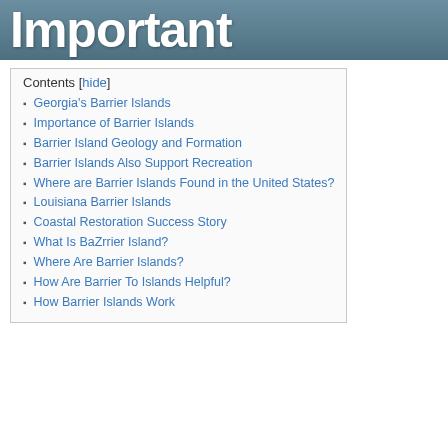[Figure (photo): Banner image with large white bold text reading 'Important' on a dark blue-grey background]
Contents [hide]
Georgia's Barrier Islands
Importance of Barrier Islands
Barrier Island Geology and Formation
Barrier Islands Also Support Recreation
Where are Barrier Islands Found in the United States?
Louisiana Barrier Islands
Coastal Restoration Success Story
What Is BaZrrier Island?
Where Are Barrier Islands?
How Are Barrier To Islands Helpful?
How Barrier Islands Work